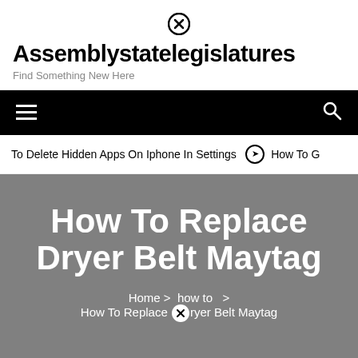Assemblystatelegislatures — Find Something New Here
How To Replace Dryer Belt Maytag
To Delete Hidden Apps On Iphone In Settings  ➤  How To G
Home › how to › How To Replace Dryer Belt Maytag